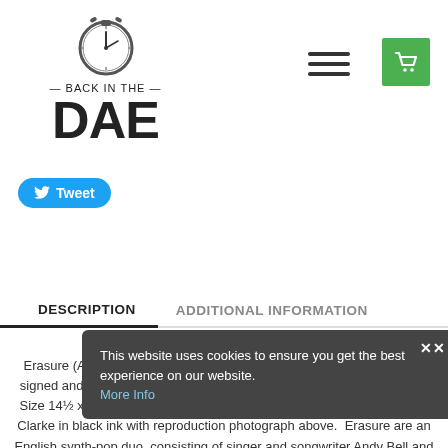[Figure (logo): Back In The DAE logo with stopwatch icon above text]
[Figure (other): Hamburger menu icon (three horizontal lines)]
[Figure (other): Green shopping cart button]
[Figure (other): Blue Twitter Tweet button]
DESCRIPTION
ADDITIONAL INFORMATION
This website uses cookies to ensure you get the best experience on our website.
Erasure (Andy Bell and Vince Clarke) - autograph card mounted hand signed and double mounted on black and green acid free mount board. Size 14½ x 8½ inches. Autograph in good condition signed by Bell and Clarke in black ink with reproduction photograph above. Erasure are an English synth-pop duo, consisting of singer and songwriter Andy Bell and songwriter and